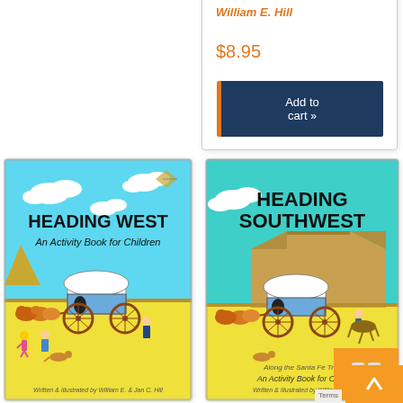William E. Hill
$8.95
Add to cart »
[Figure (illustration): Book cover: HEADING WEST An Activity Book for Children, written & illustrated by William E. & Jan C. Hill. Shows covered wagon pulled by oxen on yellow plains with blue sky.]
[Figure (illustration): Book cover: HEADING SOUTHWEST Along the Santa Fe Trail An Activity Book for Children, written & illustrated by William E. & Jan C. Hill. Shows covered wagon with mesa landscape and blue sky.]